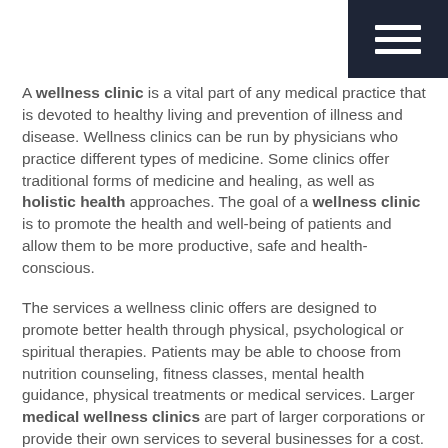[Figure (other): Dark navy hamburger menu icon (three horizontal white lines) in top-right corner]
A wellness clinic is a vital part of any medical practice that is devoted to healthy living and prevention of illness and disease. Wellness clinics can be run by physicians who practice different types of medicine. Some clinics offer traditional forms of medicine and healing, as well as holistic health approaches. The goal of a wellness clinic is to promote the health and well-being of patients and allow them to be more productive, safe and health-conscious.
The services a wellness clinic offers are designed to promote better health through physical, psychological or spiritual therapies. Patients may be able to choose from nutrition counseling, fitness classes, mental health guidance, physical treatments or medical services. Larger medical wellness clinics are part of larger corporations or provide their own services to several businesses for a cost. Physician-run wellness clinics offer a full range of clinical services for the diagnosis and treatment of conditions affecting the joints, bones and muscles of patients of all ages.